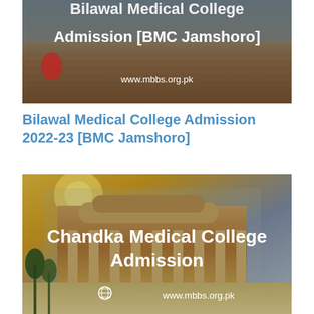[Figure (photo): Bilawal Medical College Admission [BMC Jamshoro] promotional banner with brick courtyard background and white overlay text including website URL www.mbbs.org.pk]
Bilawal Medical College Admission 2022-23 [BMC Jamshoro]
[Figure (photo): Chandka Medical College Admission promotional banner with college building at sunset background, white overlay text and globe icon with website URL www.mbbs.org.pk]